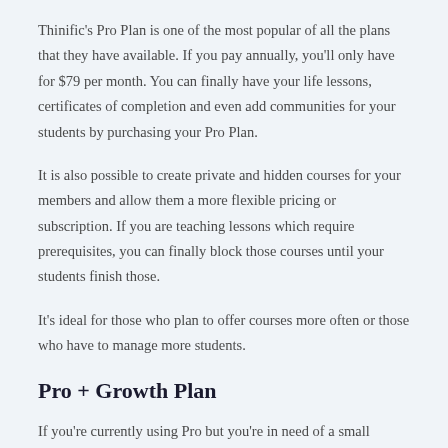Thinific's Pro Plan is one of the most popular of all the plans that they have available. If you pay annually, you'll only have for $79 per month. You can finally have your life lessons, certificates of completion and even add communities for your students by purchasing your Pro Plan.
It is also possible to create private and hidden courses for your members and allow them a more flexible pricing or subscription. If you are teaching lessons which require prerequisites, you can finally block those courses until your students finish those.
It's ideal for those who plan to offer courses more often or those who have to manage more students.
Pro + Growth Plan
If you're currently using Pro but you're in need of a small change, the Pro Plus Growth program can assist you in achieving your goals. It can also allow you to manage more students.